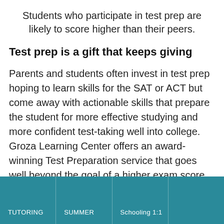Students who participate in test prep are likely to score higher than their peers.
Test prep is a gift that keeps giving
Parents and students often invest in test prep hoping to learn skills for the SAT or ACT but come away with actionable skills that prepare the student for more effective studying and more confident test-taking well into college. Groza Learning Center offers an award-winning Test Preparation service that goes well beyond the goal of a higher exam score. The right test prep should guide students to develop healthy time
TUTORING | SUMMER | Schooling 1:1